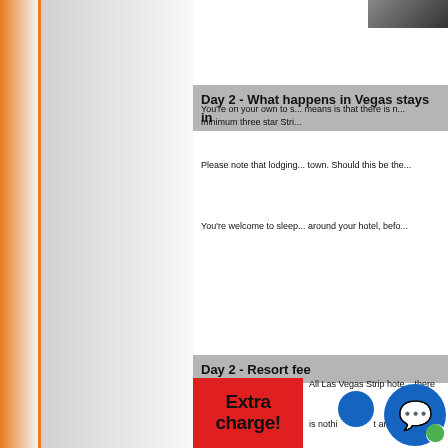[Figure (photo): Partial photo visible in top-right corner, dark background]
Day 2  -  What happens in Vegas stays in...
You're on your own to s... means is that there is n... minimum three star Stri...
Please note that lodging... town. Should this be the...
You're welcome to sleep... around your hotel, befo...
Day 2  -  Resort fee
[Figure (infographic): Red background with bold black text reading 'Extra charge!']
All Las Vegas Strip hote... there is nothi...t any...